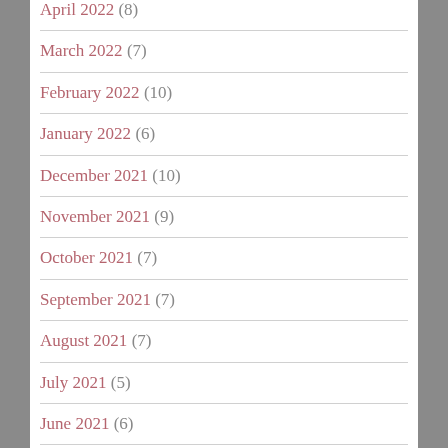April 2022 (8)
March 2022 (7)
February 2022 (10)
January 2022 (6)
December 2021 (10)
November 2021 (9)
October 2021 (7)
September 2021 (7)
August 2021 (7)
July 2021 (5)
June 2021 (6)